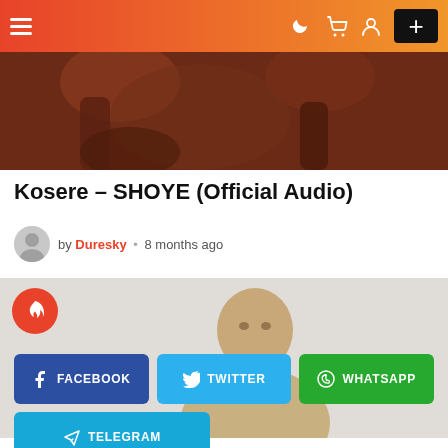Navigation bar with hamburger menu, dark mode, cart, user icons, and + button
[Figure (photo): Banner image showing figures in traditional/decorative attire against a dark brownish background]
Kosere – SHOYE (Official Audio)
by Duresky • 8 months ago
[Figure (photo): Photo of a young man facing the camera, wearing a beige/tan fur-collar jacket, light grey background, with a red fire badge overlay in top-left corner]
FACEBOOK
TWITTER
WHATSAPP
TELEGRAM